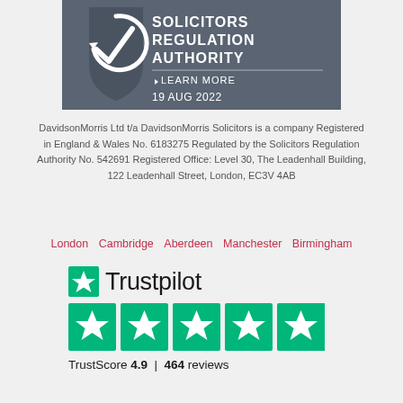[Figure (logo): Solicitors Regulation Authority badge with arrow logo, 'SOLICITORS REGULATION AUTHORITY', 'LEARN MORE', and '19 AUG 2022' on dark grey background]
DavidsonMorris Ltd t/a DavidsonMorris Solicitors is a company Registered in England & Wales No. 6183275 Regulated by the Solicitors Regulation Authority No. 542691 Registered Office: Level 30, The Leadenhall Building, 122 Leadenhall Street, London, EC3V 4AB
London   Cambridge   Aberdeen   Manchester   Birmingham
[Figure (logo): Trustpilot logo with green star icon and 5 green star rating boxes showing TrustScore 4.9 | 464 reviews]